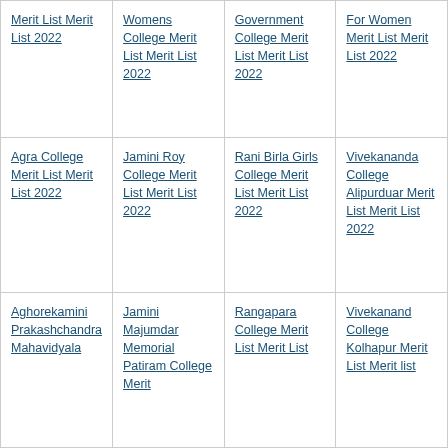Merit List Merit List 2022
Womens College Merit List Merit List 2022
Government College Merit List Merit List 2022
For Women Merit List Merit List 2022
Agra College Merit List Merit List 2022
Jamini Roy College Merit List Merit List 2022
Rani Birla Girls College Merit List Merit List 2022
Vivekananda College Alipurduar Merit List Merit List 2022
Aghorekamini Prakashchandra Mahavidyala
Jamini Majumdar Memorial Patiram College Merit
Rangapara College Merit List Merit List
Vivekanand College Kolhapur Merit List Merit list